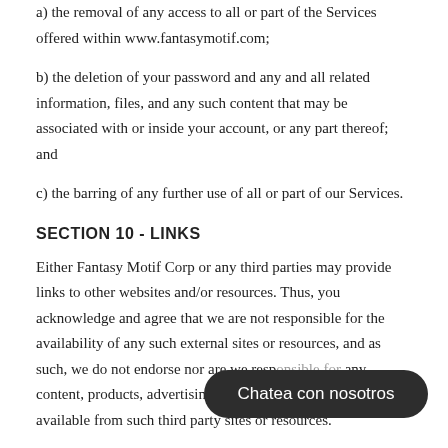a) the removal of any access to all or part of the Services offered within www.fantasymotif.com;
b) the deletion of your password and any and all related information, files, and any such content that may be associated with or inside your account, or any part thereof; and
c) the barring of any further use of all or part of our Services.
SECTION 10 - LINKS
Either Fantasy Motif Corp or any third parties may provide links to other websites and/or resources. Thus, you acknowledge and agree that we are not responsible for the availability of any such external sites or resources, and as such, we do not endorse nor are we resp[onsible for] any content, products, advertising or an[y other content o]n or available from such third party sites or resources.